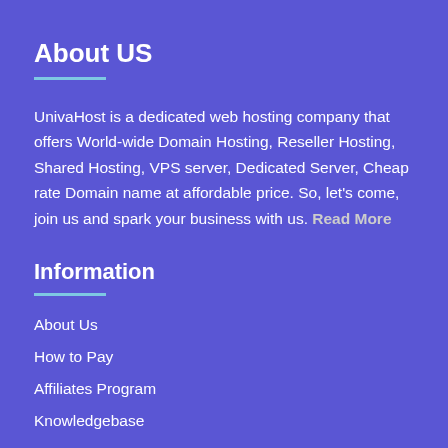About US
UnivaHost is a dedicated web hosting company that offers World-wide Domain Hosting, Reseller Hosting, Shared Hosting, VPS server, Dedicated Server, Cheap rate Domain name at affordable price. So, let's come, join us and spark your business with us. Read More
Information
About Us
How to Pay
Affiliates Program
Knowledgebase